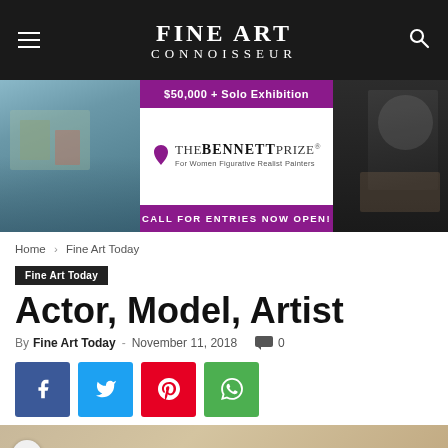FINE ART CONNOISSEUR
[Figure (infographic): Bennett Prize advertisement banner: $50,000 + Solo Exhibition, The Bennett Prize for Women Figurative Realist Painters, Call for Entries Now Open! Flanked by artwork images.]
Home › Fine Art Today
Fine Art Today
Actor, Model, Artist
By Fine Art Today - November 11, 2018  0
[Figure (illustration): Partial bottom image strip showing a beige/tan textured artwork with a notification bell icon overlay on the left.]